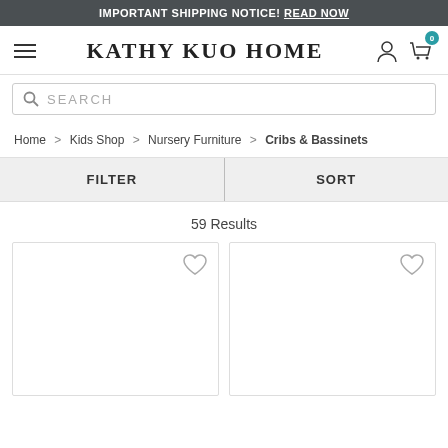IMPORTANT SHIPPING NOTICE! READ NOW
KATHY KUO HOME
SEARCH
Home > Kids Shop > Nursery Furniture > Cribs & Bassinets
FILTER
SORT
59 Results
[Figure (other): Product card 1 with heart/wishlist icon]
[Figure (other): Product card 2 with heart/wishlist icon]